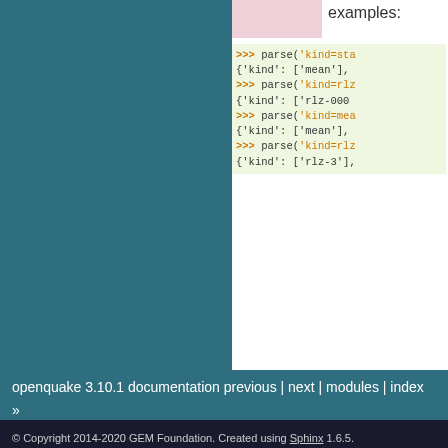[Figure (screenshot): Pink/rose colored box on the right panel top]
examples:
>>> parse('kind=sta...
{'kind': ['mean'],
>>> parse('kind=rlz...
{'kind': ['rlz-000...
>>> parse('kind=mea...
{'kind': ['mean'],
>>> parse('kind=rlz...
{'kind': ['rlz-3'],...
openquake.calculators.extra...
[source]
Replace /, ?, & characters with underscores and '=' with '-'
openquake 3.10.1 documentation previous | next | modules | index
»
© Copyright 2014-2020 GEM Foundation. Created using Sphinx 1.6.5.